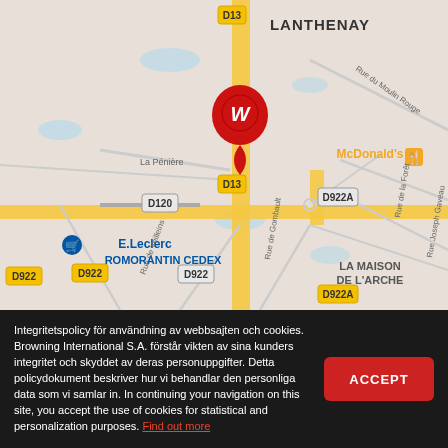[Figure (map): Google Maps view showing Lanthenay area near Romorantin-Lanthenay, France. Shows road D13, D922, D922A, D120. A red pin with a stylized W logo marks a location. McDonald's and E.Leclerc Romorantin Cedex are labeled. La Maison de L'Arche is visible in the lower right. Street names: La Pénière, Rue du Moulin Rouge, Rue de Gombault, Rue de Veilleins, Rue de la Forêt, Rue Joseph Gaveau.]
Integritetspolicy för användning av webbsajten och cookies. Browning International S.A. förstår vikten av sina kunders integritet och skyddet av deras personuppgifter. Detta policydokument beskriver hur vi behandlar den personliga data som vi samlar in. In continuing your navigation on this site, you accept the use of cookies for statistical and personalization purposes. Find out more
ACCEPT